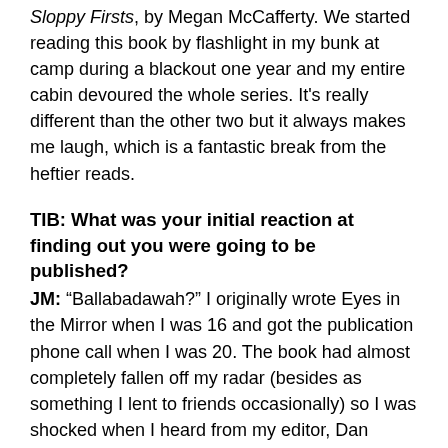Sloppy Firsts, by Megan McCafferty. We started reading this book by flashlight in my bunk at camp during a blackout one year and my entire cabin devoured the whole series. It's really different than the other two but it always makes me laugh, which is a fantastic break from the heftier reads.
TIB: What was your initial reaction at finding out you were going to be published?
JM: “Ballabadawah?” I originally wrote Eyes in the Mirror when I was 16 and got the publication phone call when I was 20. The book had almost completely fallen off my radar (besides as something I lent to friends occasionally) so I was shocked when I heard from my editor, Dan Ehrenhaft, that he wanted me to rewrite Eyes in the Mirror for publication. I think the next thing I thought was Wow, I’ve missed those characters; I can’t wait to see them again!
TIB: Any advice for aspiring writers?
JM: Put pen to paper (or fingers to keyboard if that’s your